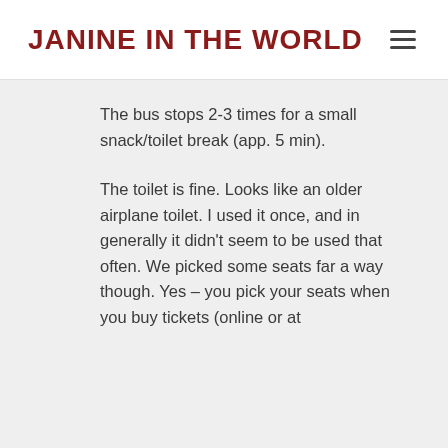JANINE IN THE WORLD
The bus stops 2-3 times for a small snack/toilet break (app. 5 min).
The toilet is fine. Looks like an older airplane toilet. I used it once, and in generally it didn't seem to be used that often. We picked some seats far a way though. Yes – you pick your seats when you buy tickets (online or at the TARC%